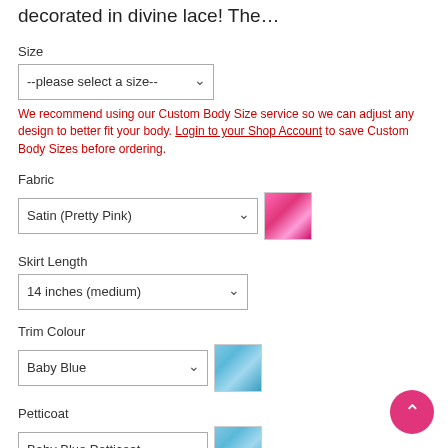decorated in divine lace! The…
Size
--please select a size--
We recommend using our Custom Body Size service so we can adjust any design to better fit your body. Login to your Shop Account to save Custom Body Sizes before ordering.
Fabric
Satin (Pretty Pink)
Skirt Length
14 inches (medium)
Trim Colour
Baby Blue
Petticoat
Baby Blue Petticoat
Lining